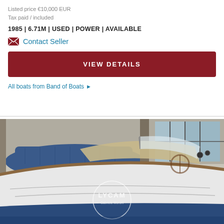Listed price €10,000 EUR
Tax paid / included
1985 | 6.71M | USED | POWER | AVAILABLE
✉  Contact Seller
VIEW DETAILS
All boats from Band of Boats ▶
[Figure (photo): Photograph of a white and wood-trimmed powerboat stored indoors in a marina or garage. A blue covered boat is visible in the background. A circular watermark reads LYCAM Gabriele Moroni.]